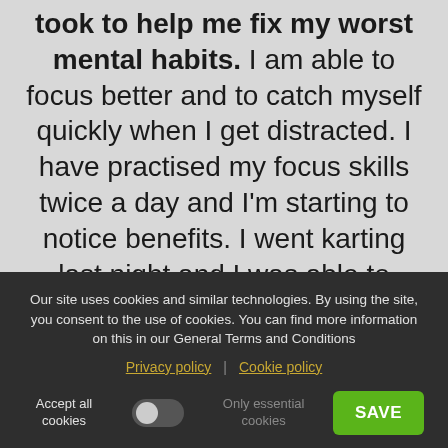took to help me fix my worst mental habits. I am able to focus better and to catch myself quickly when I get distracted. I have practised my focus skills twice a day and I'm starting to notice benefits. I went karting last night and I was able to identify when my focus was slipping and I told myself to refocus almost immediately. I knocked 0.5s off my PB. It helps at work when I
Our site uses cookies and similar technologies. By using the site, you consent to the use of cookies. You can find more information on this in our General Terms and Conditions
Privacy policy | Cookie policy
Accept all cookies | Only essential cookies | SAVE